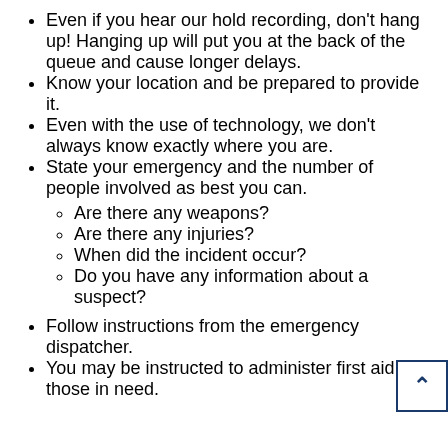Even if you hear our hold recording, don't hang up! Hanging up will put you at the back of the queue and cause longer delays.
Know your location and be prepared to provide it.
Even with the use of technology, we don't always know exactly where you are.
State your emergency and the number of people involved as best you can.
Are there any weapons?
Are there any injuries?
When did the incident occur?
Do you have any information about a suspect?
Follow instructions from the emergency dispatcher.
You may be instructed to administer first aid to those in need.